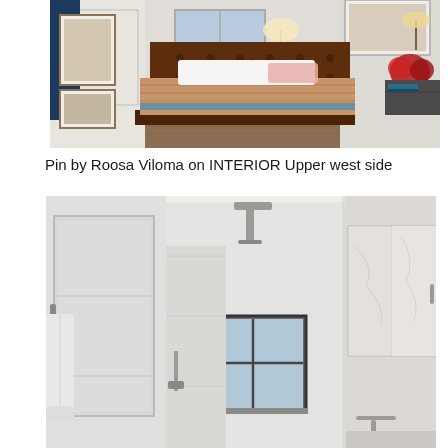[Figure (photo): Interior bedroom photo with dark wood bed frame with brown quilted bedspread and blue trim, white pillows, pink pillowcase, navy blue curtains on left window, framed art on walls, wooden nightstands, lamp, flowers, hardwood floor]
Pin by Roosa Viloma on INTERIOR Upper west side
[Figure (photo): Modern white bathroom interior with white large-format tiles, a white towel hanging on a hook, a window with dark frame, overhead linear LED light strip along ceiling, marble medicine cabinet/mirror, shower fixtures including rainfall showerhead and handheld, and wall-mounted faucet]